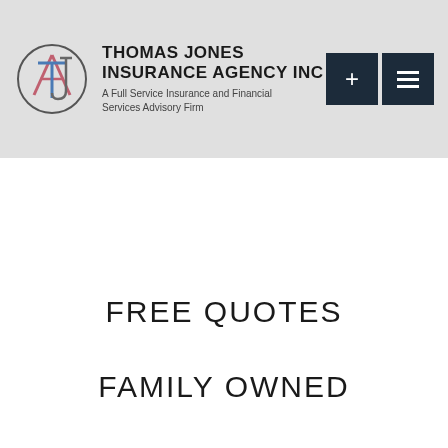THOMAS JONES INSURANCE AGENCY INC — A Full Service Insurance and Financial Services Advisory Firm
FREE QUOTES
FAMILY OWNED